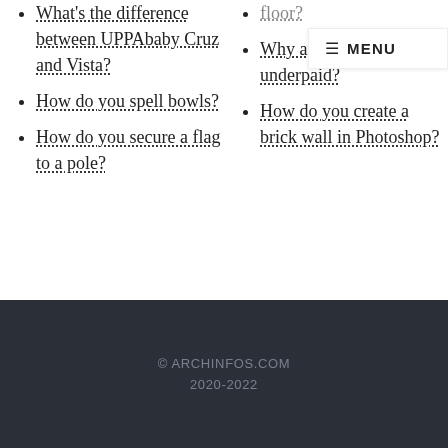What's the difference between UPPAbaby Cruz and Vista?
How do you spell bowls?
How do you secure a flag to a pole?
floor?
Why are game developers underpaid?
How do you create a brick wall in Photoshop?
© ARCHINFOS.COM 2020-2022